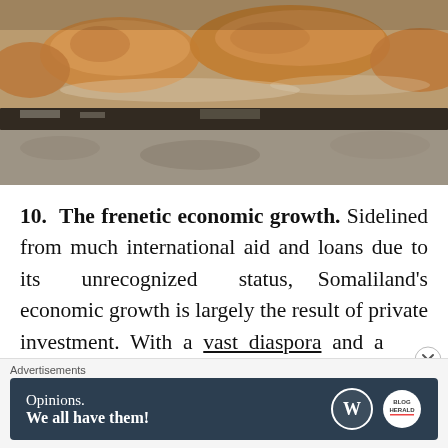[Figure (photo): Close-up photo of bread loaves on a stone/metal surface in what appears to be a bakery or market]
10. The frenetic economic growth. Sidelined from much international aid and loans due to its unrecognized status, Somaliland's economic growth is largely the result of private investment. With a vast diaspora and a
Advertisements
[Figure (infographic): Advertisement banner: 'Opinions. We all have them!' with WordPress and another logo]